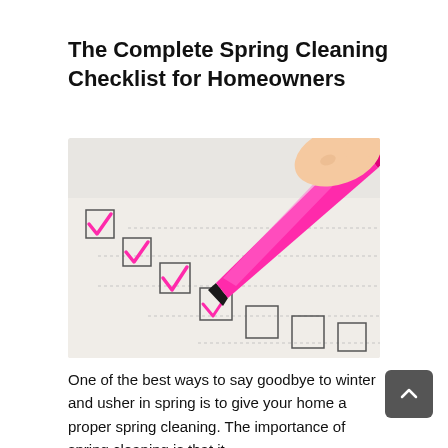The Complete Spring Cleaning Checklist for Homeowners
[Figure (photo): Close-up photo of a hand holding a pink highlighter marker checking off checkboxes on a checklist, with pink check marks in the completed boxes.]
One of the best ways to say goodbye to winter and usher in spring is to give your home a proper spring cleaning. The importance of spring cleaning is that it...